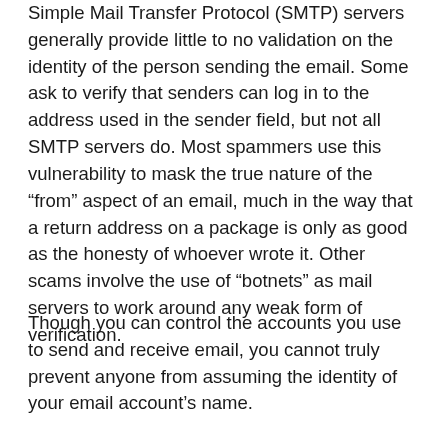Simple Mail Transfer Protocol (SMTP) servers generally provide little to no validation on the identity of the person sending the email. Some ask to verify that senders can log in to the address used in the sender field, but not all SMTP servers do. Most spammers use this vulnerability to mask the true nature of the “from” aspect of an email, much in the way that a return address on a package is only as good as the honesty of whoever wrote it. Other scams involve the use of “botnets” as mail servers to work around any weak form of verification.
Though you can control the accounts you use to send and receive email, you cannot truly prevent anyone from assuming the identity of your email account’s name.